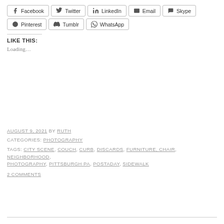Facebook Twitter LinkedIn Email Skype Pinterest Tumblr WhatsApp (share buttons)
LIKE THIS:
Loading...
AUGUST 9, 2021 BY RUTH
CATEGORIES: PHOTOGRAPHY
TAGS: CITY SCENE, COUCH, CURB, DISCARDS, FURNITURE, CHAIR, NEIGHBORHOOD, PHOTOGRAPHY, PITTSBURGH PA, POSTADAY, SIDEWALK
2 COMMENTS